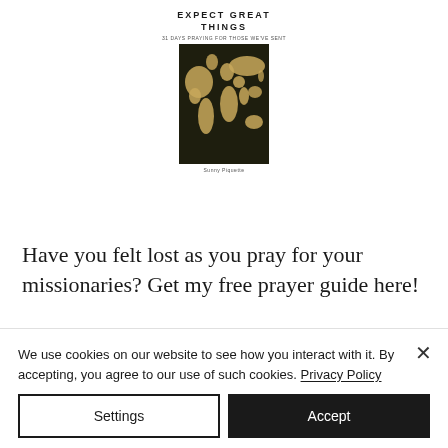[Figure (illustration): Book cover for 'Expect Great Things' showing a world map on dark background with subtitle and author name]
Have you felt lost as you pray for your missionaries? Get my free prayer guide here!
Name
We use cookies on our website to see how you interact with it. By accepting, you agree to our use of such cookies. Privacy Policy